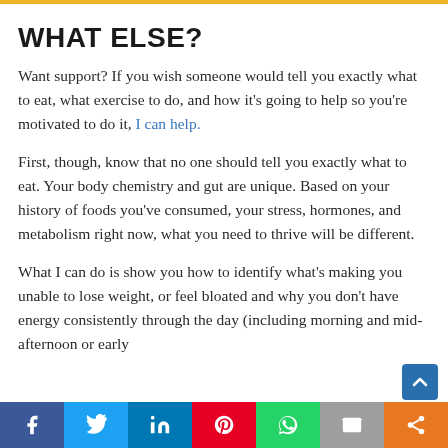WHAT ELSE?
Want support? If you wish someone would tell you exactly what to eat, what exercise to do, and how it’s going to help so you’re motivated to do it, I can help.
First, though, know that no one should tell you exactly what to eat. Your body chemistry and gut are unique. Based on your history of foods you’ve consumed, your stress, hormones, and metabolism right now, what you need to thrive will be different.
What I can do is show you how to identify what’s making you unable to lose weight, or feel bloated and why you don’t have energy consistently through the day (including morning and mid-afternoon or early